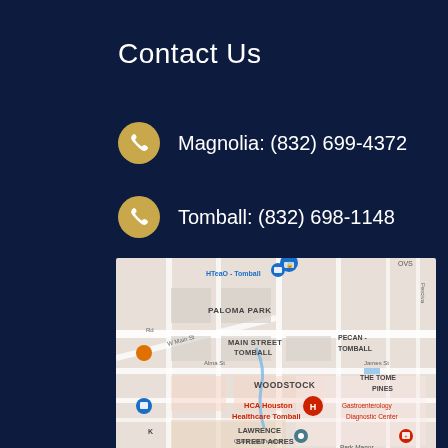Contact Us
Magnolia: (832) 699-4372
Tomball: (832) 698-1148
[Figure (map): Google Maps screenshot showing Tomball, Texas area with HCA Houston Healthcare Tomball, Gastroenterology Diagnostic Center, Quest Diagnostics, PALOMA PARK, MAIN STREET TOMBALL, PECAN - TOMBALL, WOODSTOCK, THE TOME PINES, LAWRENCE STREET ACRES, Park Manor neighborhoods visible.]